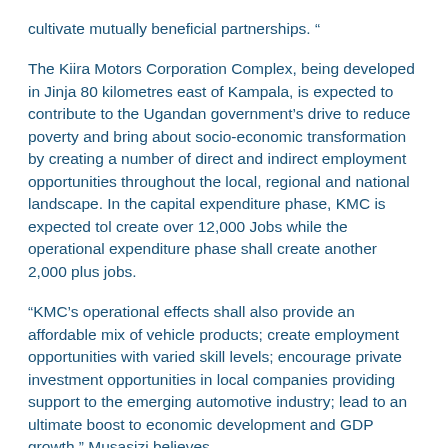cultivate mutually beneficial partnerships. “
The Kiira Motors Corporation Complex, being developed in Jinja 80 kilometres east of Kampala, is expected to contribute to the Ugandan government’s drive to reduce poverty and bring about socio-economic transformation by creating a number of direct and indirect employment opportunities throughout the local, regional and national landscape. In the capital expenditure phase, KMC is expected tol create over 12,000 Jobs while the operational expenditure phase shall create another 2,000 plus jobs.
“KMC’s operational effects shall also provide an affordable mix of vehicle products; create employment opportunities with varied skill levels; encourage private investment opportunities in local companies providing support to the emerging automotive industry; lead to an ultimate boost to economic development and GDP growth,” Musasizi believes.